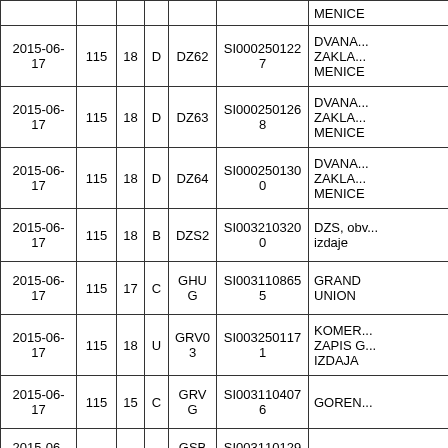| Date | Col2 | Col3 | Type | Code | ID | Description |
| --- | --- | --- | --- | --- | --- | --- |
|  |  |  |  |  |  | MENICE |
| 2015-06-17 | 115 | 18 | D | DZ62 | SI0002501227 | DVANA... ZAKLА... MENICE |
| 2015-06-17 | 115 | 18 | D | DZ63 | SI0002501268 | DVANA... ZAKLА... MENICE |
| 2015-06-17 | 115 | 18 | D | DZ64 | SI0002501300 | DVANA... ZAKLА... MENICE |
| 2015-06-17 | 115 | 18 | B | DZS2 | SI0032103200 | DZS, obv... izdaje |
| 2015-06-17 | 115 | 17 | C | GHUG | SI0031108655 | GRAND UNION |
| 2015-06-17 | 115 | 18 | U | GRV03 | SI0032501171 | KOMER... ZAPIS G... IZDAJA |
| 2015-06-17 | 115 | 15 | C | GRVG | SI0031104076 | GOREN... |
| 2015-06-17 | 115 | 17 | C | GSBG | SI0031101296 | GEA |